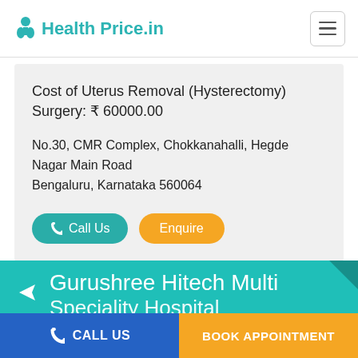Health Price.in
Cost of Uterus Removal (Hysterectomy) Surgery: ₹ 60000.00
No.30, CMR Complex, Chokkanahalli, Hegde Nagar Main Road
Bengaluru, Karnataka 560064
Call Us   Enquire
Gurushree Hitech Multi Speciality Hospital
CALL US   BOOK APPOINTMENT